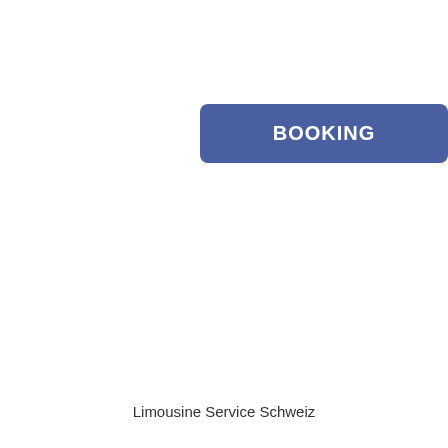BOOKING
Limousine Service Schweiz